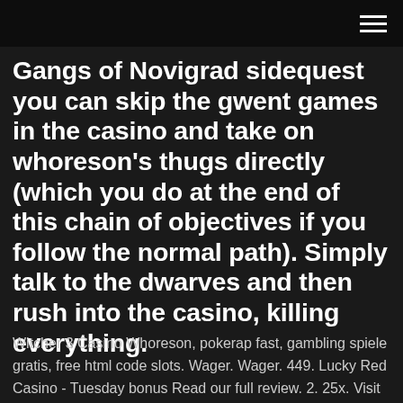[hamburger menu icon]
Gangs of Novigrad sidequest you can skip the gwent games in the casino and take on whoreson's thugs directly (which you do at the end of this chain of objectives if you follow the normal path). Simply talk to the dwarves and then rush into the casino, killing everything.
Witcher 3 Casino Whoreson, pokerap fast, gambling spiele gratis, free html code slots. Wager. Wager. 449. Lucky Red Casino - Tuesday bonus Read our full review. 2. 25x. Visit